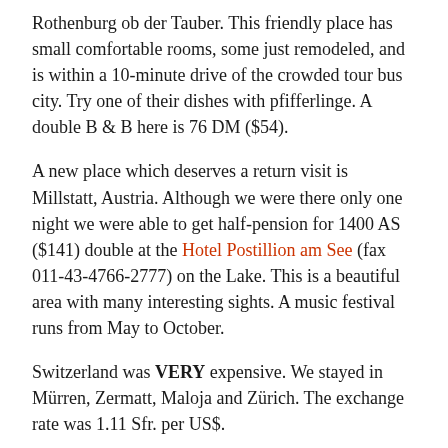Rothenburg ob der Tauber. This friendly place has small comfortable rooms, some just remodeled, and is within a 10-minute drive of the crowded tour bus city. Try one of their dishes with pfifferlinge. A double B & B here is 76 DM ($54).
A new place which deserves a return visit is Millstatt, Austria. Although we were there only one night we were able to get half-pension for 1400 AS ($141) double at the Hotel Postillion am See (fax 011-43-4766-2777) on the Lake. This is a beautiful area with many interesting sights. A music festival runs from May to October.
Switzerland was VERY expensive. We stayed in Mürren, Zermatt, Maloja and Zürich. The exchange rate was 1.11 Sfr. per US$.
Sharon & Nelson Helm
Grand Island NE